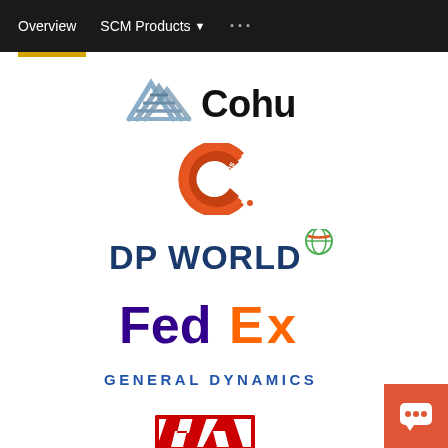Overview   SCM Products ▾   ···
[Figure (logo): Cohu logo with stacked triangles/lines icon in grey-blue and bold 'Cohu' text in black]
[Figure (logo): Cummins logo - orange C-shaped letter with 'Cummins' text arced inside]
[Figure (logo): DP WORLD logo in dark blue bold letters with globe icon]
[Figure (logo): FedEx logo - Fed in purple, Ex in orange]
[Figure (logo): GENERAL DYNAMICS logo in blue bold uppercase letters]
[Figure (logo): Honda logo - H wings symbol in red with HONDA text below in red]